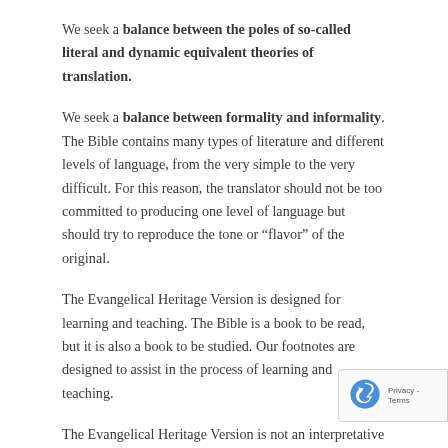We seek a balance between the poles of so-called literal and dynamic equivalent theories of translation.
We seek a balance between formality and informality. The Bible contains many types of literature and different levels of language, from the very simple to the very difficult. For this reason, the translator should not be too committed to producing one level of language but should try to reproduce the tone or “flavor” of the original.
The Evangelical Heritage Version is designed for learning and teaching. The Bible is a book to be read, but it is also a book to be studied. Our footnotes are designed to assist in the process of learning and teaching.
The Evangelical Heritage Version is not an interpretative translation. Our duty and goal is to understand and to convey as closely as possible what the original text says...